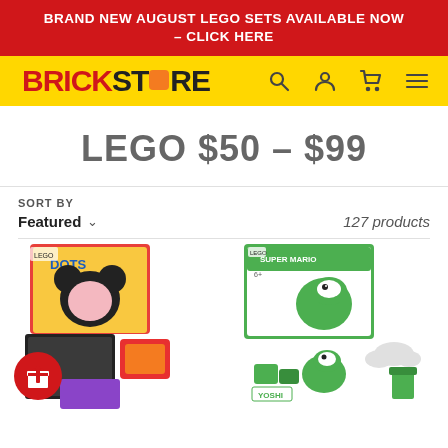BRAND NEW AUGUST LEGO SETS AVAILABLE NOW – CLICK HERE
[Figure (logo): BrickStore logo with orange block replacing the 'O', with search, user, cart, and menu icons]
LEGO $50 – $99
SORT BY
Featured
127 products
[Figure (photo): LEGO DOTS Mickey Mouse set product box and built pieces on the left side]
[Figure (photo): LEGO Super Mario Yoshi's Gift House expansion set product box and built set on the right side]